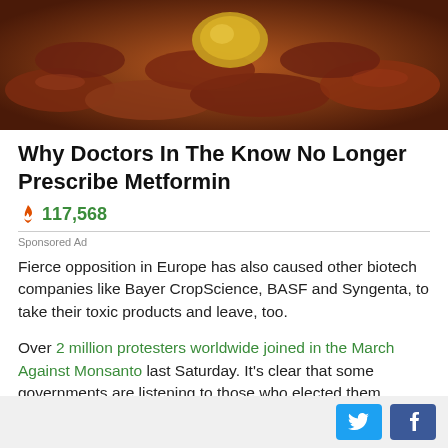[Figure (photo): Close-up photo of sausages and food items with reddish-brown colors and a gold-colored item]
Why Doctors In The Know No Longer Prescribe Metformin
🔥 117,568
Sponsored Ad
Fierce opposition in Europe has also caused other biotech companies like Bayer CropScience, BASF and Syngenta, to take their toxic products and leave, too.
Over 2 million protesters worldwide joined in the March Against Monsanto last Saturday. It's clear that some governments are listening to those who elected them.
Perhaps some of the